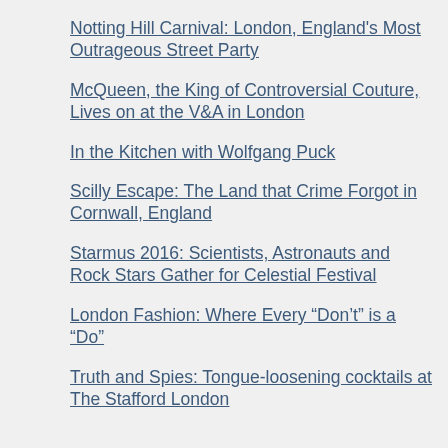Notting Hill Carnival: London, England's Most Outrageous Street Party
McQueen, the King of Controversial Couture, Lives on at the V&A in London
In the Kitchen with Wolfgang Puck
Scilly Escape: The Land that Crime Forgot in Cornwall, England
Starmus 2016: Scientists, Astronauts and Rock Stars Gather for Celestial Festival
London Fashion: Where Every “Don’t” is a “Do”
Truth and Spies: Tongue-loosening cocktails at The Stafford London